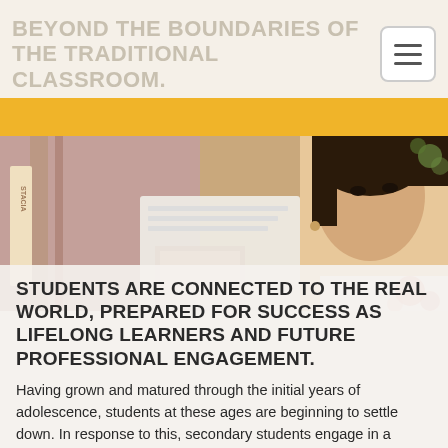BEYOND THE BOUNDARIES OF THE TRADITIONAL CLASSROOM.
[Figure (photo): Student (young girl) looking thoughtfully, with art/painting materials in background, warm tones]
STUDENTS ARE CONNECTED TO THE REAL WORLD, PREPARED FOR SUCCESS AS LIFELONG LEARNERS AND FUTURE PROFESSIONAL ENGAGEMENT.
Having grown and matured through the initial years of adolescence, students at these ages are beginning to settle down. In response to this, secondary students engage in a personalised learning program that seeks genuine dialogue to challenge students to raise their own questions, create their own ideas, seek solutions to real world challenges and explore their interests and